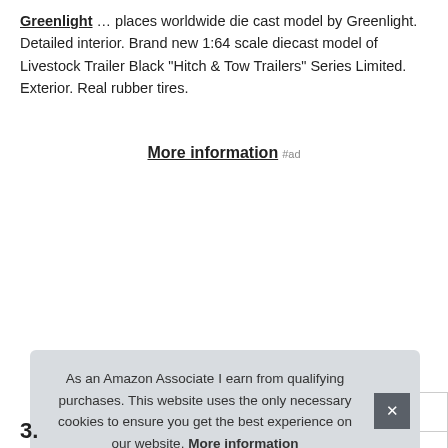Greenlight ... places worldwide die cast model by Greenlight. Detailed interior. Brand new 1:64 scale diecast model of Livestock Trailer Black "Hitch & Tow Trailers" Series Limited. Exterior. Real rubber tires.
More information #ad
|  |  |
| --- | --- |
| Brand | Greenlight #ad |
| Manufacturer | Greenlight #ad |
| Part Number | 51213 |
More information #ad
As an Amazon Associate I earn from qualifying purchases. This website uses the only necessary cookies to ensure you get the best experience on our website. More information
3.